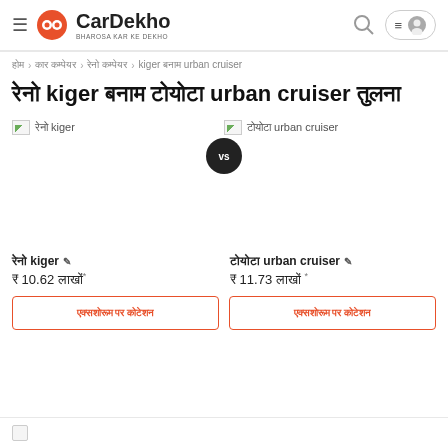CarDekho BHAROSA KAR KE DEKHO
होम > कार कम्पेयर > रेनो कम्पेयर > kiger बनाम urban cruiser
रेनो kiger बनाम टोयोटा urban cruiser तुलना
[Figure (other): Renault Kiger car image placeholder (broken image icon)]
[Figure (other): Toyota Urban Cruiser car image placeholder (broken image icon)]
रेनो kiger ✎
₹ 10.62 लाखों*
टोयोटा urban cruiser ✎
₹ 11.73 लाखों *
एक्सशोरूम पर कोटेशन
एक्सशोरूम पर कोटेशन